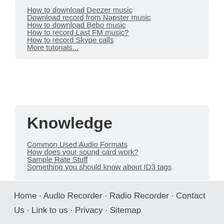How to download Deezer music
Download record from Napster music
How to download Bebo music
How to record Last FM music?
How to record Skype calls
More tutorials...
Knowledge
Common Used Audio Formats
How does your sound card work?
Sample Rate Stuff
Something you should know about ID3 tags
Home · Audio Recorder · Radio Recorder · Contact Us · Link to us · Privacy · Sitemap